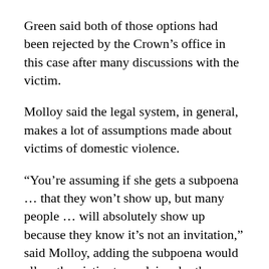Green said both of those options had been rejected by the Crown's office in this case after many discussions with the victim.
Molloy said the legal system, in general, makes a lot of assumptions made about victims of domestic violence.
“You’re assuming if she gets a subpoena … that they won’t show up, but many people … will absolutely show up because they know it’s not an invitation,” said Molloy, adding the subpoena would allow the victim to explain why they were testifying to family or friends of the accused.
“Maybe they would co-operate – you just assume,” the judge continued